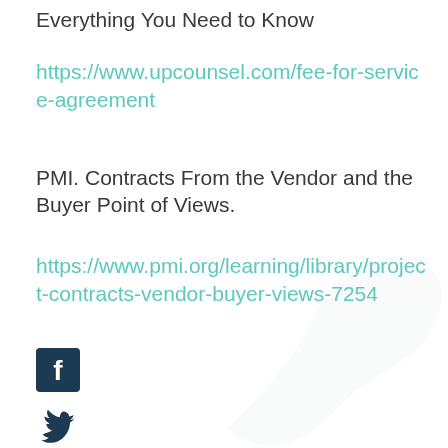Everything You Need to Know
https://www.upcounsel.com/fee-for-service-agreement
PMI. Contracts From the Vendor and the Buyer Point of Views.
https://www.pmi.org/learning/library/project-contracts-vendor-buyer-views-7254
[Figure (logo): Facebook icon - dark blue square with white F letter]
[Figure (logo): Twitter icon - dark blue bird silhouette]
[Figure (logo): LinkedIn icon - dark blue square with white 'in' text]